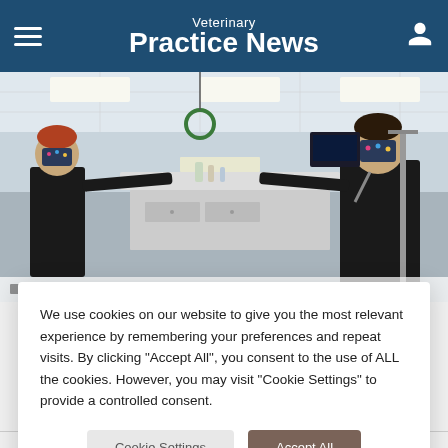Veterinary Practice News
[Figure (photo): Two veterinary staff members wearing masks standing in a veterinary operating/procedure room, both extending one arm toward each other pointing. Medical equipment visible in background.]
We use cookies on our website to give you the most relevant experience by remembering your preferences and repeat visits. By clicking "Accept All", you consent to the use of ALL the cookies. However, you may visit "Cookie Settings" to provide a controlled consent.